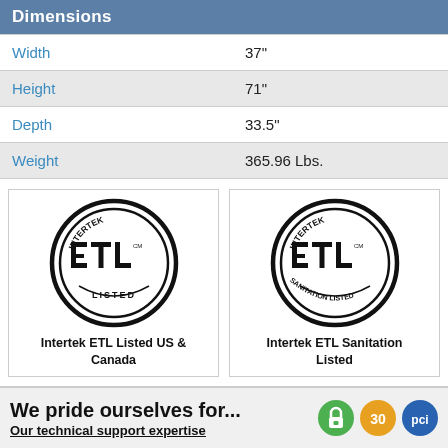| Dimensions |  |
| --- | --- |
| Width | 37" |
| Height | 71" |
| Depth | 33.5" |
| Weight | 365.96 Lbs. |
[Figure (logo): Intertek ETL Listed mark (circle with ETL text and LISTED at bottom, INTERTEK at top)]
Intertek ETL Listed US & Canada
[Figure (logo): Intertek ETL Sanitation Listed mark (circle with ETL text and SANITATION LISTED at bottom, INTERTEK at top)]
Intertek ETL Sanitation Listed
We pride ourselves for... Our technical support expertise